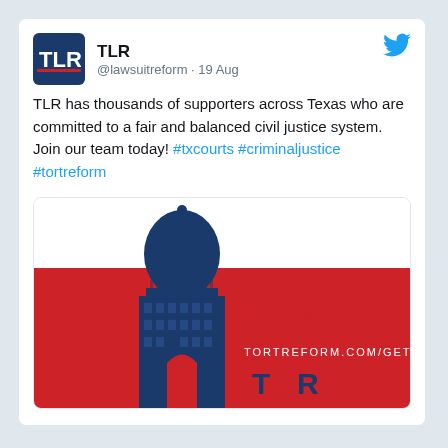[Figure (screenshot): Tweet from @lawsuitreform (TLR) dated 19 Aug. Contains TLR logo, Twitter bird icon, tweet text with hashtags, and an embedded promotional image saying 'JOIN THE TEAM' with a Texas Capitol building silhouette and URL tortreform.com/get-involved]
TLR has thousands of supporters across Texas who are committed to a fair and balanced civil justice system. Join our team today! #txcourts #criminaljustice #tortreform